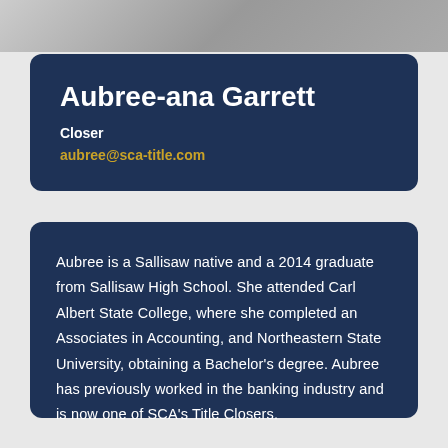[Figure (photo): Partial photo strip at the top showing a person, cropped at the bottom of the image]
Aubree-ana Garrett
Closer
aubree@sca-title.com
Aubree is a Sallisaw native and a 2014 graduate from Sallisaw High School. She attended Carl Albert State College, where she completed an Associates in Accounting, and Northeastern State University, obtaining a Bachelor's degree. Aubree has previously worked in the banking industry and is now one of SCA's Title Closers.